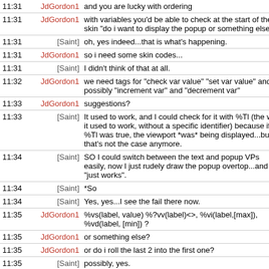| Time | User | Message |
| --- | --- | --- |
| 11:31 | JdGordon1 | and you are lucky with ordering |
| 11:31 | JdGordon1 | with variables you'd be able to check at the start of the skin "do i want to display the popup or something else?" |
| 11:31 | [Saint] | oh, yes indeed...that is what's happening. |
| 11:31 | JdGordon1 | so i need some skin codes... |
| 11:31 | [Saint] | I didn't think of that at all. |
| 11:32 | JdGordon1 | we need tags for "check var value" "set var value" and possibly "increment var" and "decrement var" |
| 11:33 | JdGordon1 | suggestions? |
| 11:33 | [Saint] | It used to work, and I could check for it with %Tl (the way it used to work, without a specific identifier) because if %Tl was true, the viewport *was* being displayed...but, that's not the case anymore. |
| 11:34 | [Saint] | SO I could switch between the text and popup VPs easily, now I just rudely draw the popup overtop...and it "just works". |
| 11:34 | [Saint] | *So |
| 11:34 | [Saint] | Yes, yes...I see the fail there now. |
| 11:35 | JdGordon1 | %vs(label, value) %?vv(label)<>, %vi(label,[max]), %vd(label, [min]) ? |
| 11:35 | JdGordon1 | or something else? |
| 11:35 | JdGordon1 | or do i roll the last 2 into the first one? |
| 11:35 | [Saint] | possibly, yes. |
| 11:39 | JdGordon1 | FS #11084 ≡ adds a touch action to change the value. I wonder if i should do that also |